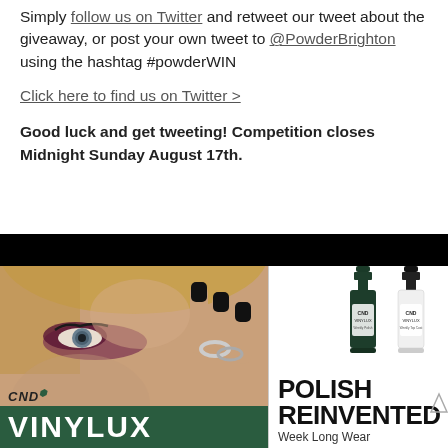Simply follow us on Twitter and retweet our tweet about the giveaway, or post your own tweet to @PowderBrighton using the hashtag #powderWIN
Click here to find us on Twitter >
Good luck and get tweeting! Competition closes Midnight Sunday August 17th.
[Figure (photo): CND Vinylux advertisement showing a model with dark eye makeup and black nail polish, alongside two nail polish bottles (dark green and white/black). Text reads 'VINYLUX', 'CND', 'POLISH REINVENTED', 'Week Long Wear'.]